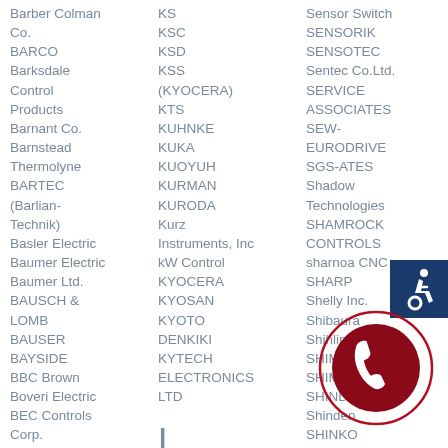Barber Colman Co.
BARCO
Barksdale Control Products
Barnant Co.
Barnstead Thermolyne
BARTEC (Barlian-Technik)
Basler Electric
Baumer Electric
Baumer Ltd.
BAUSCH & LOMB
BAUSER
BAYSIDE
BBC Brown Boveri Electric
BEC Controls Corp.
Becker Pumps
BECKMAN
KS
KSC
KSD
KSS (KYOCERA)
KTS
KUHNKE
KUKA
KUOYUH
KURMAN
KURODA
Kurz Instruments, Inc
kW Control
KYOCERA
KYOSAN
KYOTO DENKIKI
KYTECH ELECTRONICS LTD
L
L-RON
Sensor Switch
SENSORIK
SENSOTEC
Sentec Co.Ltd.
SERVICE ASSOCIATES
SEW-EURODRIVE
SGS-ATES
Shadow Technologies
SHAMROCK CONTROLS
sharnoa CNC
SHARP
Shelly Inc.
Shibaura
Shihlin Electric
SHIMADEN
SHIMPO
SHINDE
Shinden
SHINKO ELECTRIC
Shinmyung
Sanjo
[Figure (illustration): Blue accessibility icon (wheelchair user symbol) on dark blue square background]
[Figure (illustration): Dark red phone handset icon inside a red outlined circle]